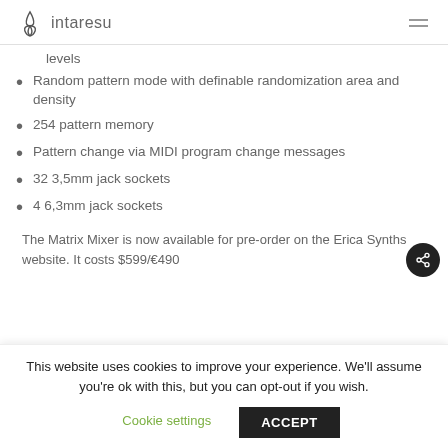intaresu
levels
Random pattern mode with definable randomization area and density
254 pattern memory
Pattern change via MIDI program change messages
32 3,5mm jack sockets
4 6,3mm jack sockets
The Matrix Mixer is now available for pre-order on the Erica Synths website. It costs $599/€490
This website uses cookies to improve your experience. We'll assume you're ok with this, but you can opt-out if you wish.